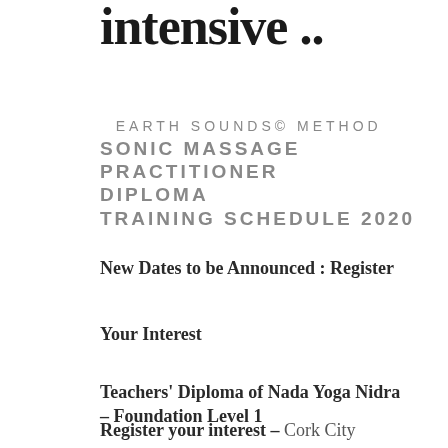intensive ..
EARTH SOUNDS© METHOD
SONIC MASSAGE PRACTITIONER DIPLOMA
TRAINING SCHEDULE 2020
New Dates to be Announced : Register
Your Interest
Teachers' Diploma of Nada Yoga Nidra – Foundation Level 1
Register your interest – Cork City
Introduction to Sound & Vibrational